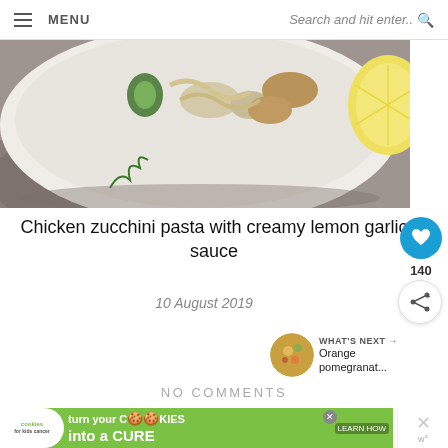MENU | Search and hit enter..
[Figure (photo): Bowl of chicken zucchini pasta with creamy lemon garlic sauce, with a halved lemon on the right side, on a grey cloth background]
Chicken zucchini pasta with creamy lemon garlic sauce
10 August 2019
NO COMMENTS
[Figure (infographic): Cookies for Kids Cancer advertisement: turn your cookies into a cure, learn how]